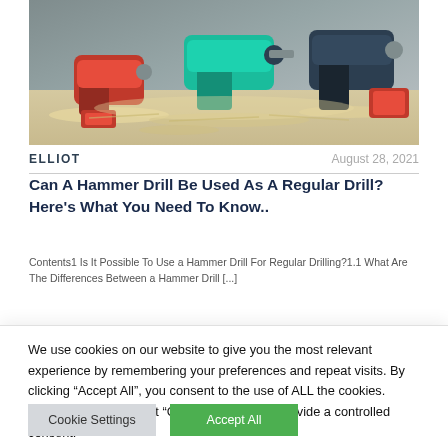[Figure (photo): Photo of power tools including red and teal/blue drills and other tools scattered on wood shavings]
ELLIOT     August 28, 2021
Can A Hammer Drill Be Used As A Regular Drill? Here's What You Need To Know..
Contents1 Is It Possible To Use a Hammer Drill For Regular Drilling?1.1 What Are The Differences Between a Hammer Drill [...]
We use cookies on our website to give you the most relevant experience by remembering your preferences and repeat visits. By clicking “Accept All”, you consent to the use of ALL the cookies. However, you may visit "Cookie Settings" to provide a controlled consent.